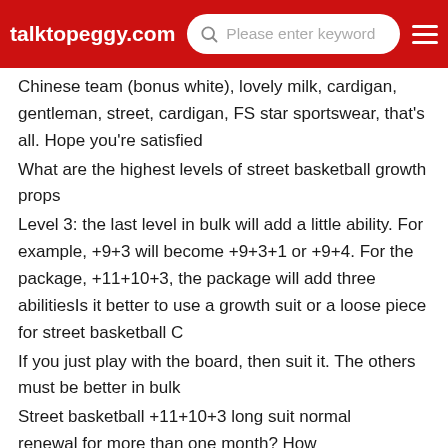talktopeggy.com | Please enter keyword
Chinese team (bonus white), lovely milk, cardigan, gentleman, street, cardigan, FS star sportswear, that's all. Hope you're satisfied
What are the highest levels of street basketball growth props
Level 3: the last level in bulk will add a little ability. For example, +9+3 will become +9+3+1 or +9+4. For the package, +11+10+3, the package will add three abilitiesIs it better to use a growth suit or a loose piece for street basketball C
If you just play with the board, then suit it. The others must be better in bulk
Street basketball +11+10+3 long suit normal renewal for more than one month? How many renewal card vulnerabilities_ Baidu
That's not a vulnerability. The renewal shows 1080 points,